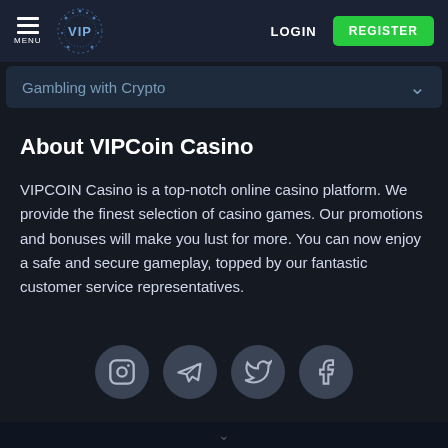MENU | VIP | LOGIN | REGISTER
Gambling with Crypto
About VIPCoin Casino
VIPCOIN Casino is a top-notch online casino platform. We provide the finest selection of casino games. Our promotions and bonuses will make you lust for more. You can now enjoy a safe and secure gameplay, topped by our fantastic customer service representatives.
[Figure (infographic): Four social media icons in gray circles: Instagram, Telegram, Twitter, Facebook]